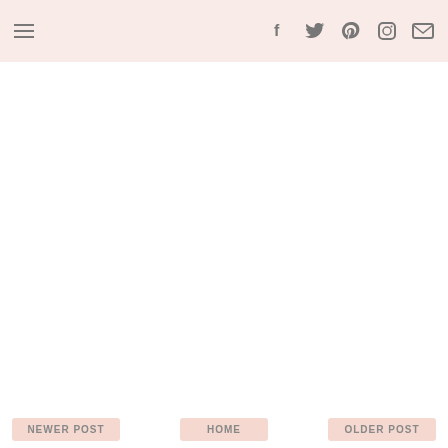☰ [menu icon] | [social icons: facebook, twitter, pinterest, instagram, email]
[Figure (other): Large blank/white content area below the navigation header, representing the main blog post body area]
NEWER POST | HOME | OLDER POST